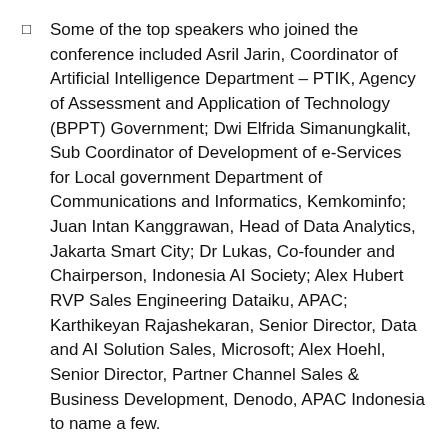Some of the top speakers who joined the conference included Asril Jarin, Coordinator of Artificial Intelligence Department – PTIK, Agency of Assessment and Application of Technology (BPPT) Government; Dwi Elfrida Simanungkalit, Sub Coordinator of Development of e-Services for Local government Department of Communications and Informatics, Kemkominfo; Juan Intan Kanggrawan, Head of Data Analytics, Jakarta Smart City; Dr Lukas, Co-founder and Chairperson, Indonesia AI Society; Alex Hubert RVP Sales Engineering Dataiku, APAC; Karthikeyan Rajashekaran, Senior Director, Data and AI Solution Sales, Microsoft; Alex Hoehl, Senior Director, Partner Channel Sales & Business Development, Denodo, APAC Indonesia to name a few.
Highlights and key takeaways from World AI Show
Asril Jarin, Coordinator of Artificial Intelligence